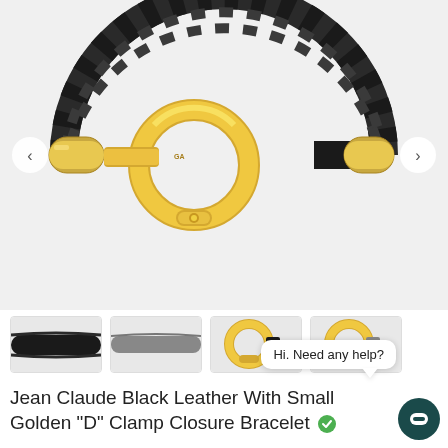[Figure (photo): Close-up product photo of a Jean Claude black braided leather bracelet with a golden shackle D-clamp closure. The bracelet is circular with gold hardware visible, on a white background, with left and right navigation arrows.]
[Figure (photo): Four thumbnail images: two showing color variants of the leather strap (black and grey), two showing the golden clasp closure detail on black and grey leather variants.]
Hi. Need any help?
Jean Claude Black Leather With Small Golden "D" Clamp Closure Bracelet